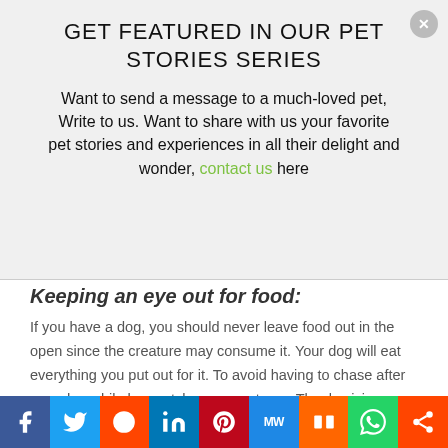GET FEATURED IN OUR PET STORIES SERIES
Want to send a message to a much-loved pet, Write to us. Want to share with us your favorite pet stories and experiences in all their delight and wonder, contact us here
Keeping an eye out for food:
If you have a dog, you should never leave food out in the open since the creature may consume it. Your dog will eat everything you put out for it. To avoid having to chase after your dog while he snatches away at your Thanksgiving turkey, you should plan. I know what I'm talking about since I've been there.
I can't just grab and go:
[Figure (photo): Dark image strip at bottom of article]
Social share bar: Facebook, Twitter, Reddit, LinkedIn, Pinterest, MixedWire, Mix, WhatsApp, Share